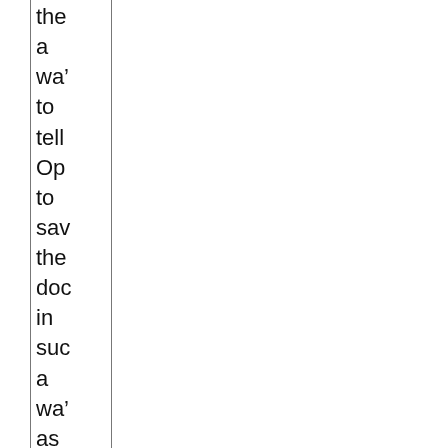the a way to tell Op to save the doc in such a way as that it ess "ex it to and Op